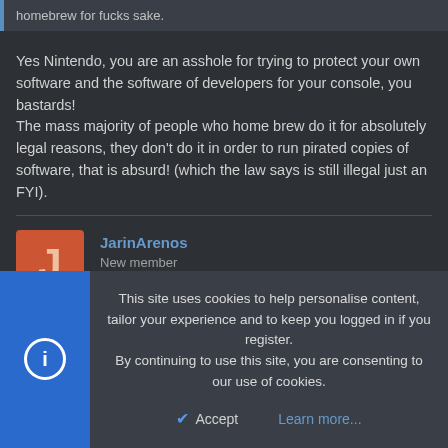homebrew for fucks sake.
Yes Nintendo, you are an asshole for trying to protect your own software and the software of developers for your console, you bastards!
The mass majority of people who home brew do it for absolutely legal reasons, they don't do it in order to run pirated copies of software, that is absurd! (which the law says is still illegal just an FYI).
JarinArenos
New member
Jan 23, 2014  #12
This site uses cookies to help personalise content, tailor your experience and to keep you logged in if you register.
By continuing to use this site, you are consenting to our use of cookies.
Accept  Learn more...